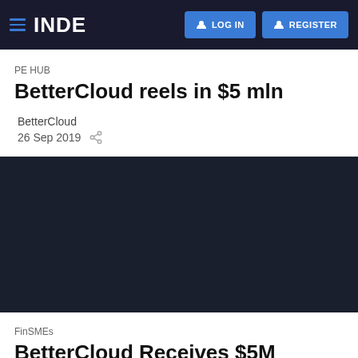INDE — LOG IN — REGISTER
PE HUB
BetterCloud reels in $5 mln
BetterCloud
26 Sep 2019
[Figure (photo): Dark background image area for the article]
FinSMEs
BetterCloud Receives $5M Investment